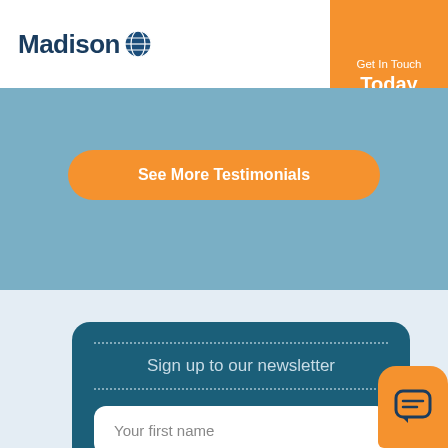Madison
Get In Touch Today
See More Testimonials
Sign up to our newsletter
Your first name
Your last name